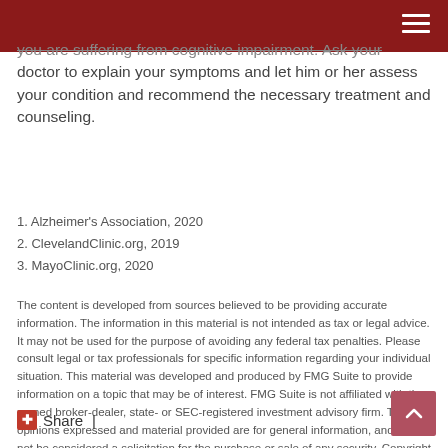you are suffering from cognitive impairment. Ask your doctor to explain your symptoms and let him or her assess your condition and recommend the necessary treatment and counseling.
1. Alzheimer's Association, 2020
2. ClevelandClinic.org, 2019
3. MayoClinic.org, 2020
The content is developed from sources believed to be providing accurate information. The information in this material is not intended as tax or legal advice. It may not be used for the purpose of avoiding any federal tax penalties. Please consult legal or tax professionals for specific information regarding your individual situation. This material was developed and produced by FMG Suite to provide information on a topic that may be of interest. FMG Suite is not affiliated with the named broker-dealer, state- or SEC-registered investment advisory firm. The opinions expressed and material provided are for general information, and should not be considered a solicitation for the purchase or sale of any security. Copyright 2022 FMG Suite.
Share |